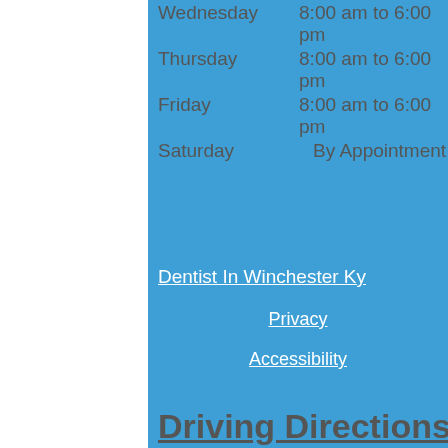Wednesday    8:00 am to 6:00 pm
Thursday    8:00 am to 6:00 pm
Friday    8:00 am to 6:00 pm
Saturday    By Appointment
Dentist In Winchester Ky
Privacy
Accessibility
Driving Directions